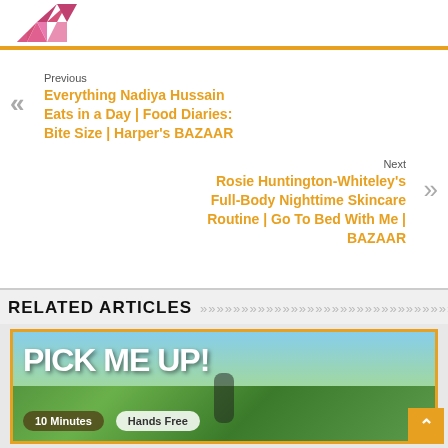[Figure (logo): Pink geometric/triangular logo mark in top left corner]
Previous
Everything Nadiya Hussain Eats in a Day | Food Diaries: Bite Size | Harper's BAZAAR
Next
Rosie Huntington-Whiteley's Full-Body Nighttime Skincare Routine | Go To Bed With Me | BAZAAR
RELATED ARTICLES
[Figure (photo): Outdoor photo with text overlay 'PICK ME UP!' in large white bold letters, with two pill badges: '10 Minutes' and 'Hands Free'. Yellow border around image.]